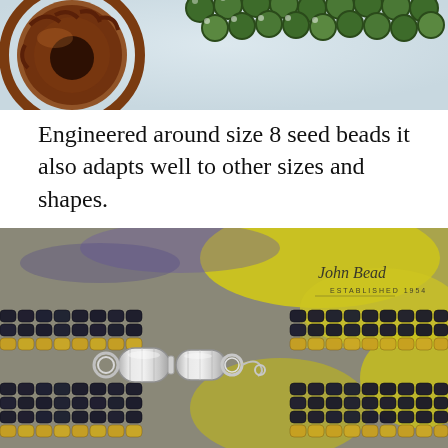[Figure (photo): Close-up photo of a copper sun pendant and green glass seed beads on a light background, partially cropped at top of page.]
Engineered around size 8 seed beads it also adapts well to other sizes and shapes.
[Figure (photo): Close-up photo of a beaded bracelet made with dark matte iridescent size 8 seed beads and yellow accent beads, with a silver magnetic barrel clasp. John Bead Established 1954 logo visible in upper right corner.]